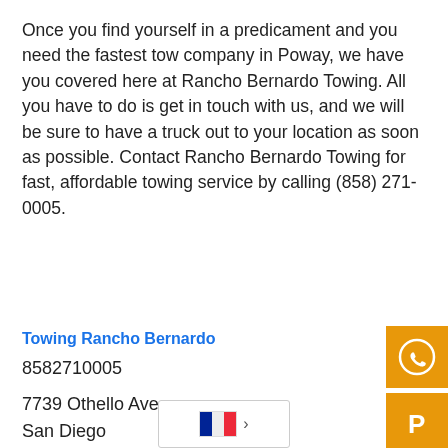Once you find yourself in a predicament and you need the fastest tow company in Poway, we have you covered here at Rancho Bernardo Towing. All you have to do is get in touch with us, and we will be sure to have a truck out to your location as soon as possible. Contact Rancho Bernardo Towing for fast, affordable towing service by calling (858) 271-0005.
Towing Poway
Towing Rancho Bernardo
8582710005
7739 Othello Ave
San Diego
CA
92111